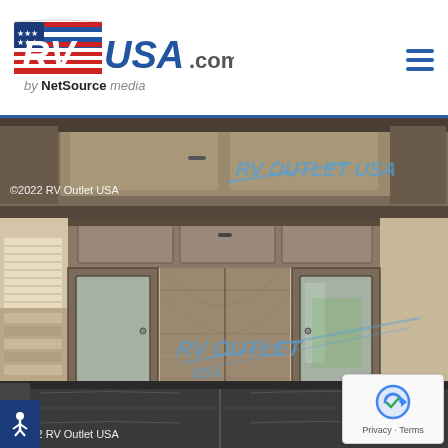[Figure (logo): RVUSA.com by NetSource media logo with American flag design]
[Figure (photo): Top strip showing upper cabinetry in RV interior with wood finish and watermark 'RV OUTLET USA']
[Figure (photo): Main interior photo of RV showing Murphy bed/wall bed in closed position with wood cabinetry, mirrored wardrobe doors on both sides, and dark leather sofa/seating in foreground. Watermark 'RV OUTLET USA' visible. Copyright 2022 RV Outlet USA.]